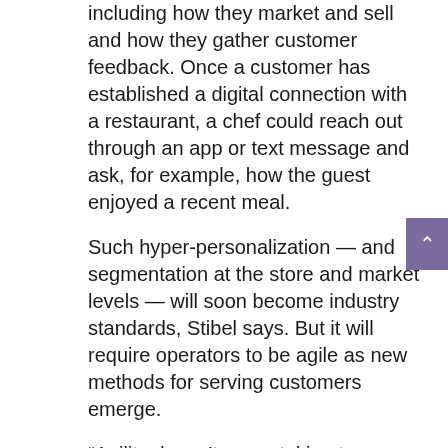including how they market and sell and how they gather customer feedback. Once a customer has established a digital connection with a restaurant, a chef could reach out through an app or text message and ask, for example, how the guest enjoyed a recent meal.
Such hyper-personalization — and segmentation at the store and market levels — will soon become industry standards, Stibel says. But it will require operators to be agile as new methods for serving customers emerge.
“Agility doesn’t mean taking two or three months to develop a plan,” he explains. “Agility means acting now and learning from your mistakes — and continuing to adapt and get ahead of the curve.”
Mondelēz International Foodservice offers insights and expertise that can help your operation thrive in these challenging times.